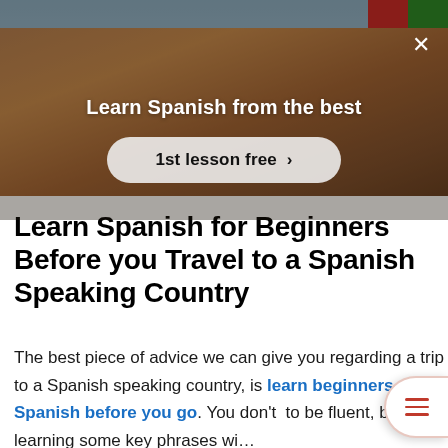[Figure (screenshot): Ad banner overlay on a background photo of a person. Shows 'Learn Spanish from the best' headline and '1st lesson free >' CTA button with an X close button. Red and green flag elements in top right corner.]
Learn Spanish for Beginners Before you Travel to a Spanish Speaking Country
The best piece of advice we can give you regarding a trip to a Spanish speaking country, is learn beginners Spanish before you go. You don't to be fluent, but learning some key phrases wi... make your life a lot easier, and allow you to make